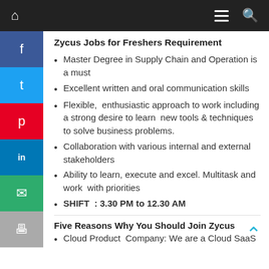Navigation bar with home icon, hamburger menu, and search icon
Zycus Jobs for Freshers Requirement
Master Degree in Supply Chain and Operation is a must
Excellent written and oral communication skills
Flexible,  enthusiastic approach to work including a strong desire to learn  new tools & techniques to solve business problems.
Collaboration with various internal and external  stakeholders
Ability to learn, execute and excel. Multitask and work  with priorities
SHIFT  : 3.30 PM to 12.30 AM
Five Reasons Why You Should Join Zycus
Cloud Product  Company: We are a Cloud SaaS